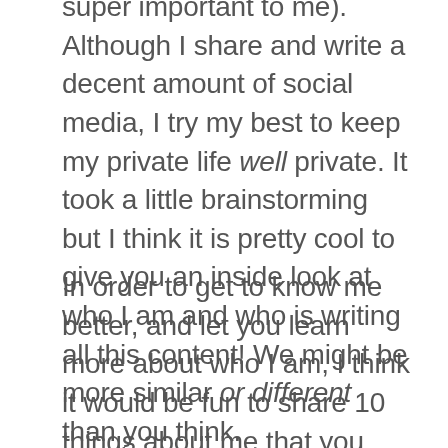super important to me). Although I share and write a decent amount of social media, I try my best to keep my private life well private. It took a little brainstorming but I think it is pretty cool to give you an inside look at who I am and who is writing all this content! We might be more similar or different than you think.
In order to get to know me better, and let you learn more about who I am, I think it would be fun to share 10 things about me that you might not know :